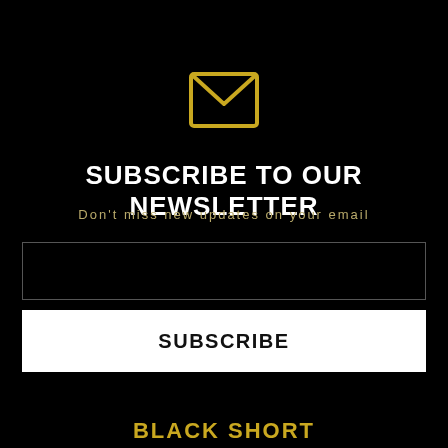[Figure (illustration): Gold envelope/mail icon on black background]
SUBSCRIBE TO OUR NEWSLETTER
Don't miss new updates on your email
[Figure (other): Email input text field with dark background and thin border]
SUBSCRIBE
BLACK SHORT